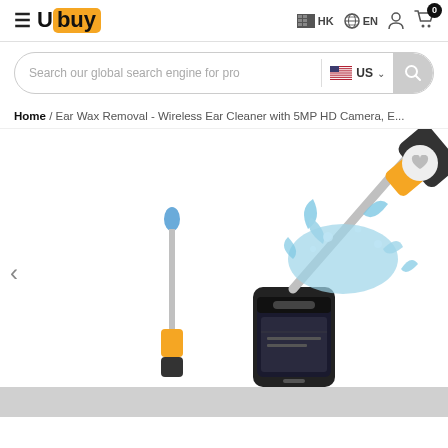[Figure (logo): Ubuy logo with orange box and hamburger menu icon]
HK  EN
[Figure (screenshot): Search bar with placeholder text 'Search our global search engine for pro', US flag selector, and search button]
Home / Ear Wax Removal - Wireless Ear Cleaner with 5MP HD Camera, E...
[Figure (photo): Product image of ear wax removal wireless ear cleaner with 5MP HD camera, showing device, phone app, and water splash demonstration]